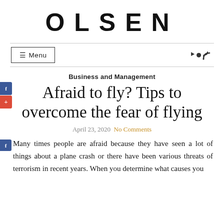OLSEN
☰ Menu
Business and Management
Afraid to fly? Tips to overcome the fear of flying
April 23, 2020  No Comments
Many times people are afraid because they have seen a lot of things about a plane crash or there have been various threats of terrorism in recent years. When you determine what causes you